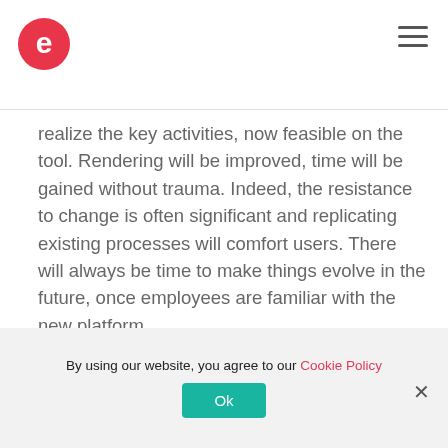e (logo) / hamburger menu
realize the key activities, now feasible on the tool. Rendering will be improved, time will be gained without trauma. Indeed, the resistance to change is often significant and replicating existing processes will comfort users. There will always be time to make things evolve in the future, once employees are familiar with the new platform.

This can also be seen around vocabulary and tags. Management or project team desire is
By using our website, you agree to our Cookie Policy
Ok